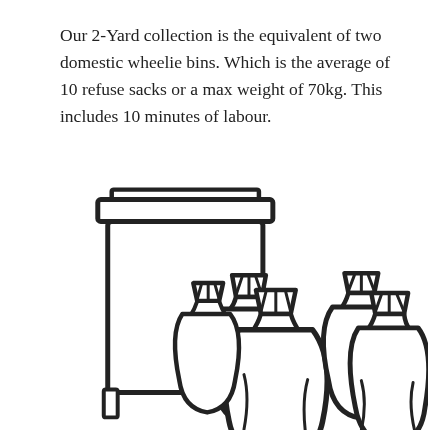Our 2-Yard collection is the equivalent of two domestic wheelie bins. Which is the average of 10 refuse sacks or a max weight of 70kg. This includes 10 minutes of labour.
[Figure (illustration): Black and white line illustration of a large wheelie bin on the left and a group of five refuse sacks on the right]